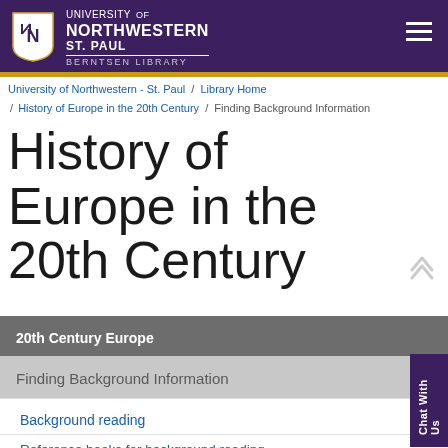University of Northwestern ST. PAUL BERNTSEN LIBRARY
University of Northwestern - St. Paul / Library Home / History of Europe in the 20th Century / Finding Background Information
History of Europe in the 20th Century
20th Century Europe
Finding Background Information
Background reading
Reference books for background reading
History e-Reference